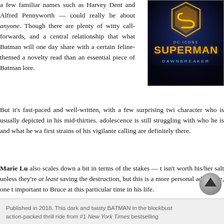a few familiar names such as Harvey Dent and Alfred Pennyworth — could really be about anyone. Though there are plenty of witty call-forwards, and a central relationship that what Batman will one day share with a certain feline-themed a novelty read than an essential piece of Batman lore.
[Figure (illustration): DC Icons Superman Dawnbreaker book cover with golden glowing Superman logo on dark blue background]
But it's fast-paced and well-written, with a few surprising twi character who is usually depicted in his mid-thirties. adolescence is still struggling with who he is and what he wa first strains of his vigilante calling are definitely there.
Marie Lu also scales down a bit in terms of the stakes — t isn't worth his/her salt unless they're at least saving the destruction, but this is a more personal adventure, one t important to Bruce at this particular time in his life.
Published in 2018. This dark and twisty BATMAN in the blockbust action-packed thrill ride from #1 New York Times bestselling